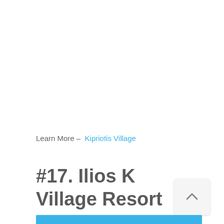Learn More – Kipriotis Village
#17. Ilios K Village Resort